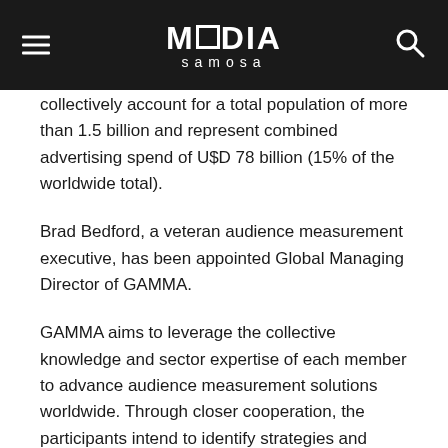Media Samosa
collectively account for a total population of more than 1.5 billion and represent combined advertising spend of U$D 78 billion (15% of the worldwide total).
Brad Bedford, a veteran audience measurement executive, has been appointed Global Managing Director of GAMMA.
GAMMA aims to leverage the collective knowledge and sector expertise of each member to advance audience measurement solutions worldwide. Through closer cooperation, the participants intend to identify strategies and solutions that are more transparent and standardized. This will ensure greater efficiency, consistency and scope for audience measurement providers and their partners from this point forward.